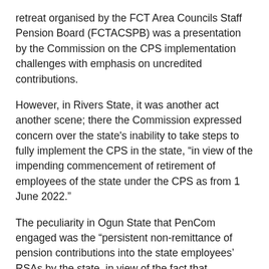retreat organised by the FCT Area Councils Staff Pension Board (FCTACSPB) was a presentation by the Commission on the CPS implementation challenges with emphasis on uncredited contributions.
However, in Rivers State, it was another act another scene; there the Commission expressed concern over the state's inability to take steps to fully implement the CPS in the state, “in view of the impending commencement of retirement of employees of the state under the CPS as from 1 June 2022.”
The peculiarity in Ogun State that PenCom engaged was the “persistent non-remittance of pension contributions into the state employees’ RSAs by the state, in view of the fact that employees of the state would start retiring under the CPS as from 1 July 2025.”